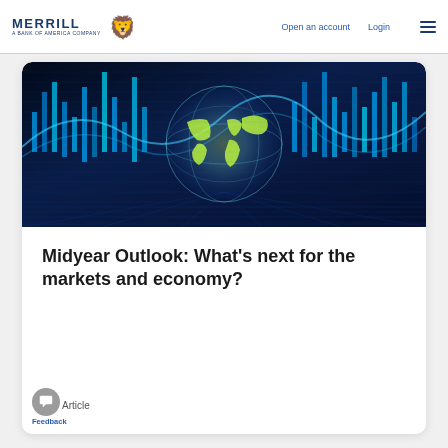MERRILL A BANK OF AMERICA COMPANY | Open an account | Login
[Figure (photo): Digital globe with financial stock chart candlestick bars in blue tones, representing global markets and economy.]
Midyear Outlook: What's next for the markets and economy?
Article